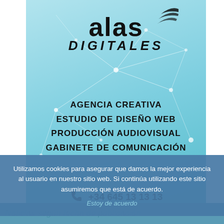[Figure (logo): Alas Digitales agency logo with stylized wing graphic above the text 'alas DIGITALES' on a teal/light blue gradient background with network connection lines]
AGENCIA CREATIVA
ESTUDIO DE DISEÑO WEB
PRODUCCIÓN AUDIOVISUAL
GABINETE DE COMUNICACIÓN
+34 645 13 13 13
info@alasdigitales.com
Utilizamos cookies para asegurar que damos la mejor experiencia al usuario en nuestro sitio web. Si continúa utilizando este sitio asumiremos que está de acuerdo.
Estoy de acuerdo
Noticias según fecha de publicación